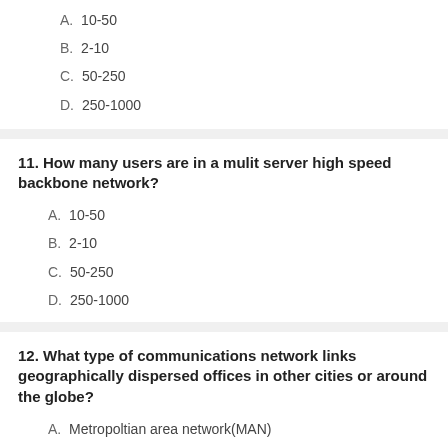A. 10-50
B. 2-10
C. 50-250
D. 250-1000
11. How many users are in a mulit server high speed backbone network?
A. 10-50
B. 2-10
C. 50-250
D. 250-1000
12. What type of communications network links geographically dispersed offices in other cities or around the globe?
A. Metropoltian area network(MAN)
B. Local area network(LAN)
C. Multi server high-speed backbone network
D. Enterprise network